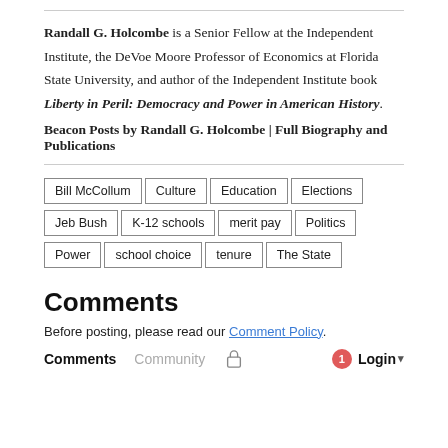Randall G. Holcombe is a Senior Fellow at the Independent Institute, the DeVoe Moore Professor of Economics at Florida State University, and author of the Independent Institute book Liberty in Peril: Democracy and Power in American History.
Beacon Posts by Randall G. Holcombe | Full Biography and Publications
Bill McCollum  Culture  Education  Elections  Jeb Bush  K-12 schools  merit pay  Politics  Power  school choice  tenure  The State
Comments
Before posting, please read our Comment Policy.
Comments  Community  Login